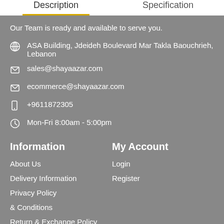Description | Specification
Our Team is ready and available to serve you.
🌐 ASA Building, Jdeideh Boulevard Mar Takla Baouchrieh, Lebanon
✉ sales@shayaazar.com
✉ ecommerce@shayaazar.com
📱 +9611872305
🕐 Mon-Fri 8:00am - 5:00pm
Information
About Us
Delivery Information
Privacy Policy
Terms & Conditions
Return & Exchange Policy
My Account
Login
Register